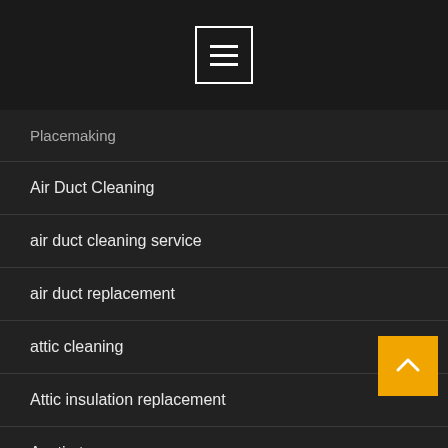[Figure (other): Navigation hamburger menu button with three horizontal lines inside a rectangle border]
Placemaking
Air Duct Cleaning
air duct cleaning service
air duct replacement
attic cleaning
Attic insulation replacement
Austin tx
automotive locksmith
Bail Bonds
Builders
Business
Car care